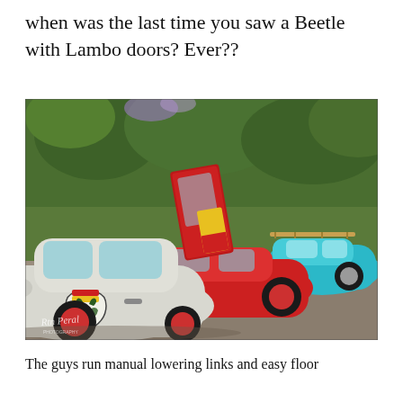when was the last time you saw a Beetle with Lambo doors? Ever??
[Figure (photo): Outdoor car show scene featuring customized Volkswagen Beetles. In the foreground is a white VW Beetle with a German eagle shield decal and red/yellow stripe detail, lowered stance, and red wheels. Behind it is a red VW Beetle with Lambo (scissor) doors open. A teal/turquoise VW Beetle is visible in the background. Trees line the background. A watermark reading 'Rtn Peral' appears in the lower left corner.]
The guys run manual lowering links and easy floor